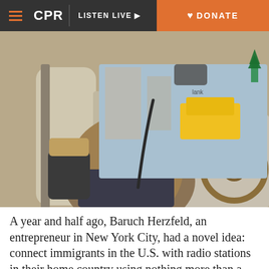CPR | LISTEN LIVE | DONATE
[Figure (photo): A man sitting in the driver's seat of a vehicle, smiling, wearing a tan jacket and earbuds, with a wood-grain steering wheel visible. Through the windows, city street scene with yellow taxis and buildings visible.]
A year and half ago, Baruch Herzfeld, an entrepreneur in New York City, had a novel idea: connect immigrants in the U.S. with radio stations in their home country using nothing more than a